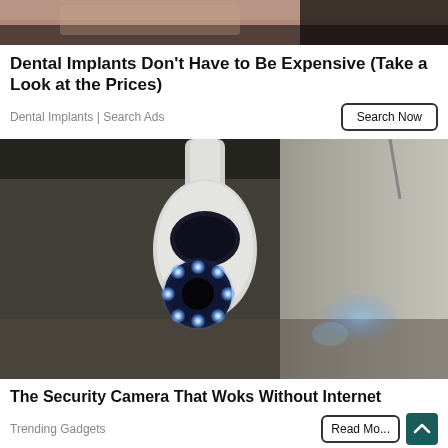[Figure (photo): Close-up photo of a person's face/skin, cropped at top, used as ad image for dental implants]
Dental Implants Don't Have to Be Expensive (Take a Look at the Prices)
Dental Implants | Search Ads
[Figure (photo): Photo of a white smart security camera with glowing blue LED ring lights, mounted on a ceiling in a room]
The Security Camera That Woks Without Internet
Trending Gadgets